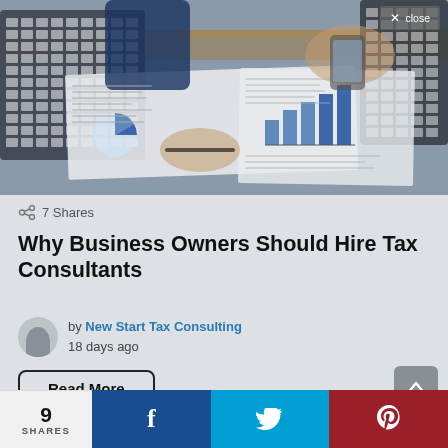[Figure (photo): Photo of a person's hands working at a desk with a calculator, financial charts/documents, and a phone. Business finance setting.]
✕ close
7 Shares
Why Business Owners Should Hire Tax Consultants
by New Start Tax Consulting
18 days ago
Read More
9 SHARES
[Figure (infographic): Social sharing bar with Facebook (f), Twitter (bird), and Pinterest (p) icons]